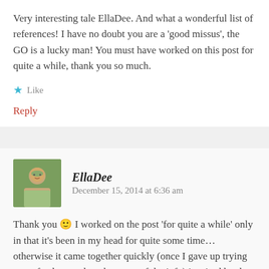Very interesting tale EllaDee. And what a wonderful list of references! I have no doubt you are a ‘good missus’, the GO is a lucky man! You must have worked on this post for quite a while, thank you so much.
Like
Reply
EllaDee   December 15, 2014 at 6:36 am
Thank you 🙂 I worked on the post ‘for quite a while’ only in that it’s been in my head for quite some time... otherwise it came together quickly (once I gave up trying to perfectly correlate the some of the info) inspired by the anniversary of the women embarking